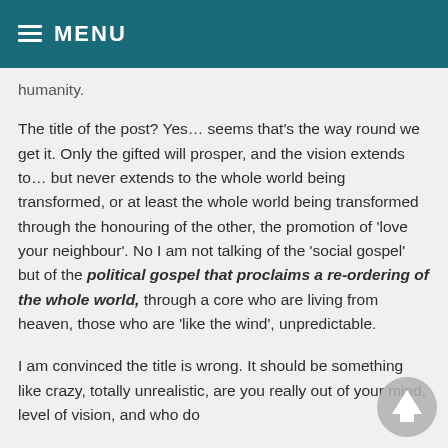≡ MENU
humanity.
The title of the post? Yes… seems that's the way round we get it. Only the gifted will prosper, and the vision extends to… but never extends to the whole world being transformed, or at least the whole world being transformed through the honouring of the other, the promotion of 'love your neighbour'. No I am not talking of the 'social gospel' but of the political gospel that proclaims a re-ordering of the whole world, through a core who are living from heaven, those who are 'like the wind', unpredictable.
I am convinced the title is wrong. It should be something like crazy, totally unrealistic, are you really out of your mind, level of vision, and who do